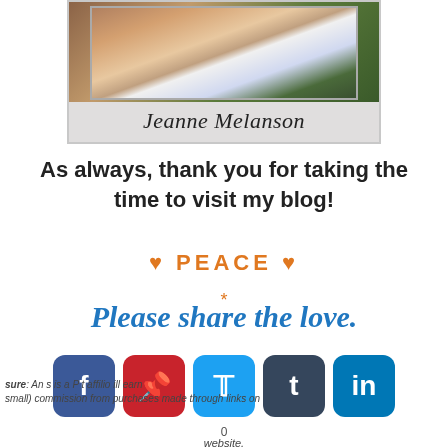[Figure (photo): Author card with photo of Jeanne Melanson and name in script font on gray background]
As always, thank you for taking the time to visit my blog!
♥ PEACE ♥
*
Please share the love.
[Figure (infographic): Social media share buttons: Facebook, Pinterest, Twitter, Tumblr, LinkedIn]
sure: An s is a P t affilio ill earn small) commission from purchases made through links on website.